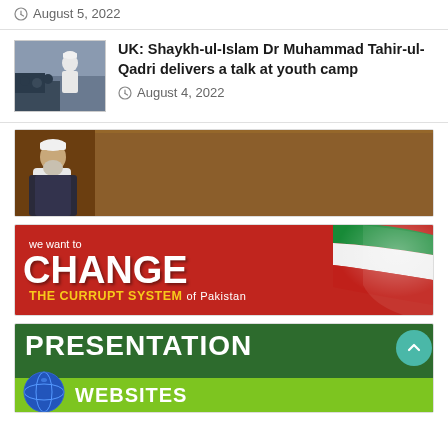August 5, 2022
[Figure (photo): Thumbnail of Shaykh-ul-Islam Dr Muhammad Tahir-ul-Qadri at a youth camp]
UK: Shaykh-ul-Islam Dr Muhammad Tahir-ul-Qadri delivers a talk at youth camp
August 4, 2022
[Figure (illustration): Banner: Shaykh-ul-Islam Dr Muhammad Tahir-ul-Qadri's — brown background with portrait]
[Figure (illustration): Banner: we want to CHANGE THE CURRUPT SYSTEM of Pakistan — red background with Pakistan flag ribbon]
[Figure (illustration): Banner: PRESENTATION WEBSITES — dark green and bright green background with globe icon]